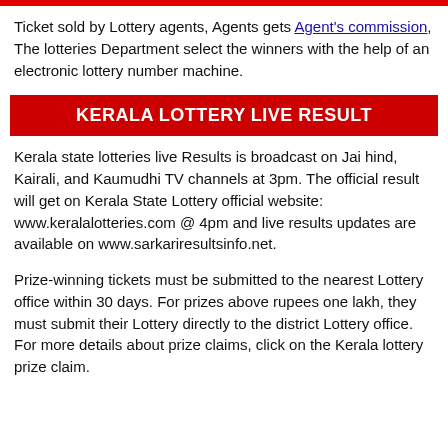Ticket sold by Lottery agents, Agents gets Agent's commission, The lotteries Department select the winners with the help of an electronic lottery number machine.
KERALA LOTTERY LIVE RESULT
Kerala state lotteries live Results is broadcast on Jai hind, Kairali, and Kaumudhi TV channels at 3pm. The official result will get on Kerala State Lottery official website: www.keralalotteries.com @ 4pm and live results updates are available on www.sarkariresultsinfo.net.
Prize-winning tickets must be submitted to the nearest Lottery office within 30 days. For prizes above rupees one lakh, they must submit their Lottery directly to the district Lottery office. For more details about prize claims, click on the Kerala lottery prize claim.